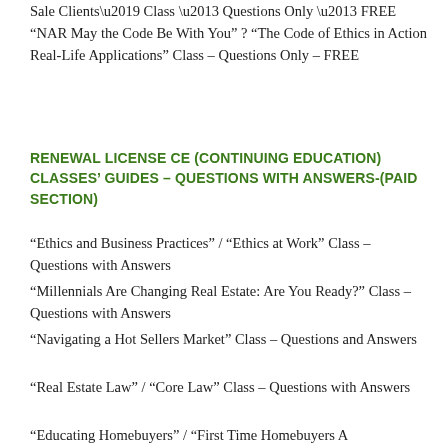Sale Clients' Class – Questions Only – FREE
“NAR May the Code Be With You” ? “The Code of Ethics in Action Real-Life Applications” Class – Questions Only – FREE
RENEWAL LICENSE CE (CONTINUING EDUCATION) CLASSES’ GUIDES – QUESTIONS WITH ANSWERS-(PAID SECTION)
“Ethics and Business Practices” / “Ethics at Work” Class – Questions with Answers
“Millennials Are Changing Real Estate: Are You Ready?” Class – Questions with Answers
“Navigating a Hot Sellers Market” Class – Questions and Answers
“Real Estate Law” / “Core Law” Class – Questions with Answers
“Educating Homebuyers” / “First Time Homebuyers A